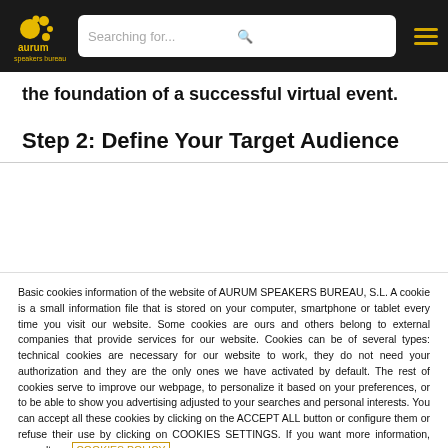Aurum Speakers Bureau — navigation header with logo and search bar
the foundation of a successful virtual event.
Step 2: Define Your Target Audience
Basic cookies information of the website of AURUM SPEAKERS BUREAU, S.L. A cookie is a small information file that is stored on your computer, smartphone or tablet every time you visit our website. Some cookies are ours and others belong to external companies that provide services for our website. Cookies can be of several types: technical cookies are necessary for our website to work, they do not need your authorization and they are the only ones we have activated by default. The rest of cookies serve to improve our webpage, to personalize it based on your preferences, or to be able to show you advertising adjusted to your searches and personal interests. You can accept all these cookies by clicking on the ACCEPT ALL button or configure them or refuse their use by clicking on COOKIES SETTINGS. If you want more information, consult our COOKIES POLICY
COOKIES SETTINGS | ACCEPT ALL